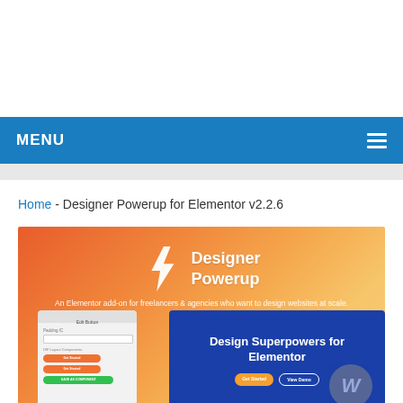MENU
Home - Designer Powerup for Elementor v2.2.6
[Figure (screenshot): Designer Powerup for Elementor promotional banner showing the logo with a lightning bolt E icon, tagline 'An Elementor add-on for freelancers & agencies who want to design websites at scale.', and a UI mockup showing 'Design Superpowers for Elementor' on a blue background with orange and outlined buttons, alongside an Elementor editor panel.]
Designer Powerup for Elementor v2.2.6